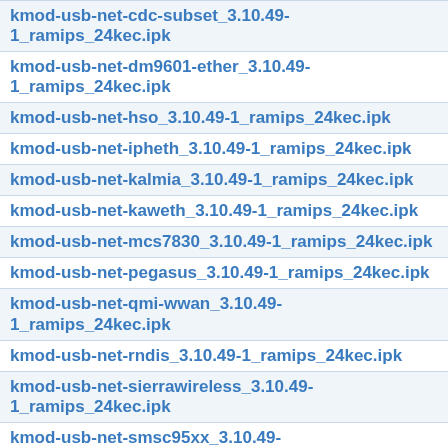kmod-usb-net-cdc-subset_3.10.49-1_ramips_24kec.ipk
kmod-usb-net-dm9601-ether_3.10.49-1_ramips_24kec.ipk
kmod-usb-net-hso_3.10.49-1_ramips_24kec.ipk
kmod-usb-net-ipheth_3.10.49-1_ramips_24kec.ipk
kmod-usb-net-kalmia_3.10.49-1_ramips_24kec.ipk
kmod-usb-net-kaweth_3.10.49-1_ramips_24kec.ipk
kmod-usb-net-mcs7830_3.10.49-1_ramips_24kec.ipk
kmod-usb-net-pegasus_3.10.49-1_ramips_24kec.ipk
kmod-usb-net-qmi-wwan_3.10.49-1_ramips_24kec.ipk
kmod-usb-net-rndis_3.10.49-1_ramips_24kec.ipk
kmod-usb-net-sierrawireless_3.10.49-1_ramips_24kec.ipk
kmod-usb-net-smsc95xx_3.10.49-1_ramips_24kec.ipk
kmod-usb-net_3.10.49-1_ramips_24kec.ipk
kmod-usb-ohci_3.10.49-1_ramips_24kec.ipk
kmod-usb-printer_3.10.49-1_ramips_24kec.ipk
kmod-usb-serial-ark3116_3.10.49-1_ramips_24kec.ipk
kmod-usb-serial-belkin_3.10.49-1_ramips_24kec.ipk
kmod-usb-serial-ch341_3.10.49-1_ramips_24kec.ipk
kmod-usb-serial-cp210x_3.10.49-1_ramips_24kec.ipk
kmod-usb-serial-cypress-m8_3.10.49-1_ramips_24kec.ipk